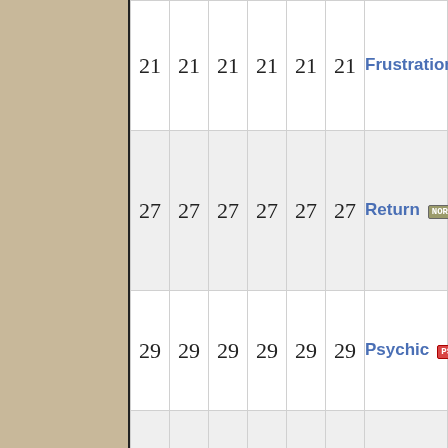|  |  |  |  |  |  | Move | Type |  |
| --- | --- | --- | --- | --- | --- | --- | --- | --- |
| 21 | 21 | 21 | 21 | 21 | 21 | Frustration | NORMAL |  |
| 27 | 27 | 27 | 27 | 27 | 27 | Return | NORMAL |  |
| 29 | 29 | 29 | 29 | 29 | 29 | Psychic | PSYCHO |  |